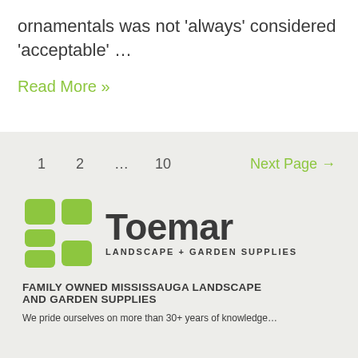ornamentals was not 'always' considered 'acceptable' …
Read More »
1   2   …   10   Next Page →
[Figure (logo): Toemar Landscape + Garden Supplies logo with green grid icon and bold dark text]
FAMILY OWNED MISSISSAUGA LANDSCAPE AND GARDEN SUPPLIES
We pride ourselves on more than 30+ years of knowledge…